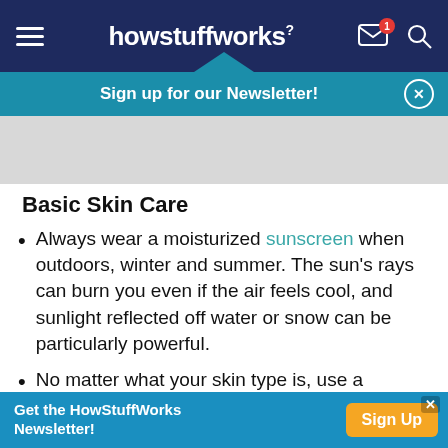howstuffworks
[Figure (screenshot): Teal newsletter signup banner with text 'Sign up for our Newsletter!' and close button]
[Figure (other): Grey advertisement placeholder area]
Basic Skin Care
Always wear a moisturized sunscreen when outdoors, winter and summer. The sun's rays can burn you even if the air feels cool, and sunlight reflected off water or snow can be particularly powerful.
No matter what your skin type is, use a protective sunscreen when you are in the sun;
Get the HowStuffWorks Newsletter! Sign Up